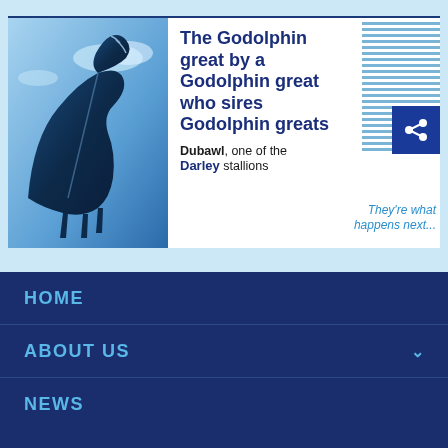[Figure (screenshot): Darley/Godolphin advertisement banner featuring a blue-toned horse photograph on the left, headline text in the center, decorative horizontal lines and a share button on the right, with italic tagline 'They're what happens next...' The banner has a light blue background.]
The Godolphin great by a Godolphin great who sires Godolphin greats
Dubawl, one of the Darley stallions
They're what happens next...
HOME
ABOUT US
NEWS